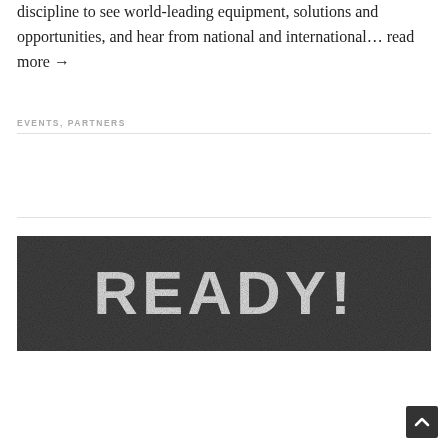discipline to see world-leading equipment, solutions and opportunities, and hear from national and international… read more →
EVENTS, PARTNERS
[Figure (photo): Black and white photo of road asphalt with white stenciled text reading 'READY!']
[Figure (other): Back-to-top button with upward chevron arrow]